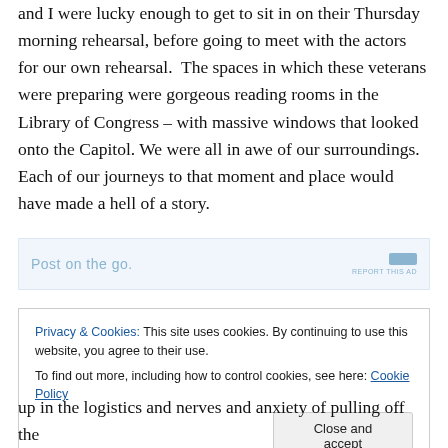and I were lucky enough to get to sit in on their Thursday morning rehearsal, before going to meet with the actors for our own rehearsal.  The spaces in which these veterans were preparing were gorgeous reading rooms in the Library of Congress – with massive windows that looked onto the Capitol. We were all in awe of our surroundings. Each of our journeys to that moment and place would have made a hell of a story.
[Figure (other): Ad banner with light blue background showing 'Post on the go.' text and REPORT THIS AD label]
Privacy & Cookies: This site uses cookies. By continuing to use this website, you agree to their use.
To find out more, including how to control cookies, see here: Cookie Policy
Close and accept
up in the logistics and nerves and anxiety of pulling off the